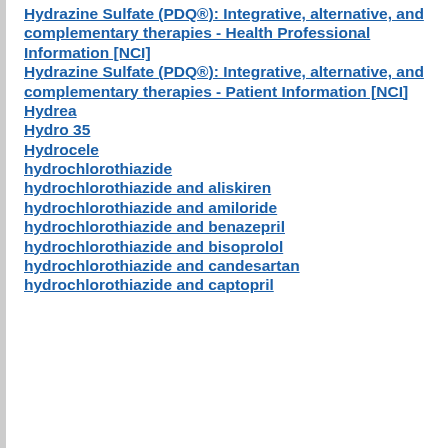Hydrazine Sulfate (PDQ®): Integrative, alternative, and complementary therapies - Health Professional Information [NCI]
Hydrazine Sulfate (PDQ®): Integrative, alternative, and complementary therapies - Patient Information [NCI]
Hydrea
Hydro 35
Hydrocele
hydrochlorothiazide
hydrochlorothiazide and aliskiren
hydrochlorothiazide and amiloride
hydrochlorothiazide and benazepril
hydrochlorothiazide and bisoprolol
hydrochlorothiazide and candesartan
hydrochlorothiazide and captopril